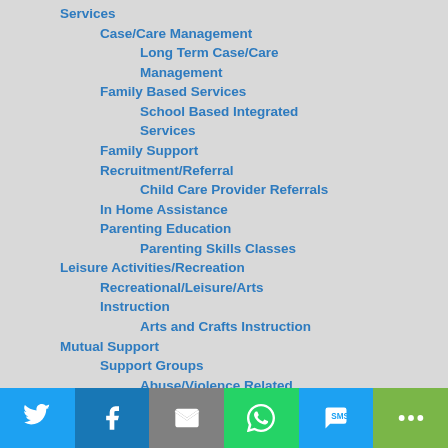Services
Case/Care Management
Long Term Case/Care Management
Family Based Services
School Based Integrated Services
Family Support
Recruitment/Referral
Child Care Provider Referrals
In Home Assistance
Parenting Education
Parenting Skills Classes
Leisure Activities/Recreation
Recreational/Leisure/Arts Instruction
Arts and Crafts Instruction
Mutual Support
Support Groups
Abuse/Violence Related Support Groups
Bereavement and Grief Support Groups
[Figure (infographic): Social sharing bar with Twitter, Facebook, Email, WhatsApp, SMS, and More buttons]